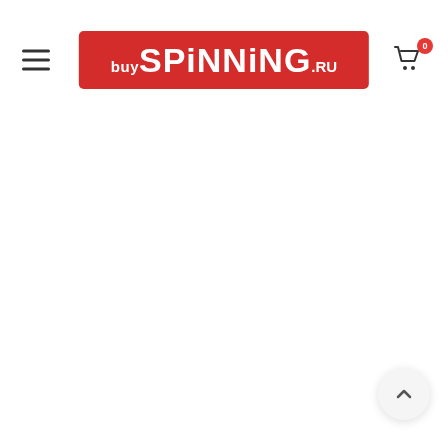buySPiNNiNG.ru — website header with logo, hamburger menu, and cart icon
[Figure (logo): buySPiNNiNG.ru logo on red background, white text. 'buy' in small caps, 'SPiNNiNG' in large bold, '.RU' in smaller text.]